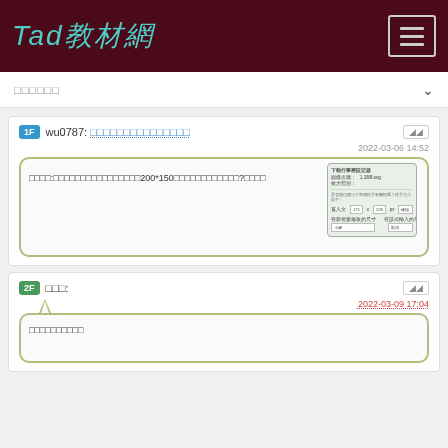Tad教材網
□□□□□□
1F wu0787: □□□□□□□□□□□□□□□
2022-03-06 14:52
[Figure (screenshot): Screenshot of a form dialog with input fields and dropdowns]
□□□□:□□□□□□□□□□□□□□□□□200*150□□□□□□□□□□□□?□□□□
2F □□□:
2022-03-09 17:04
□□□□□□□□□□